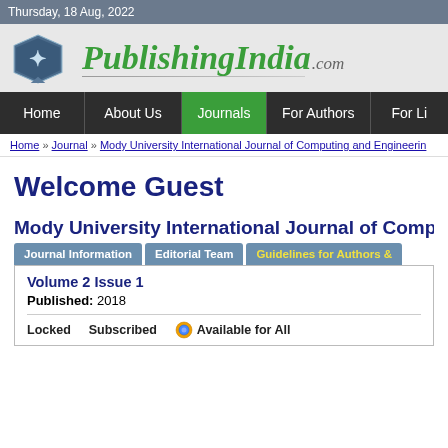Thursday, 18 Aug, 2022
[Figure (logo): PublishingIndia.com logo with book icon and green italic text]
Home | About Us | Journals | For Authors | For Li...
Home » Journal » Mody University International Journal of Computing and Engineerin...
Welcome Guest
Mody University International Journal of Comp...
Journal Information | Editorial Team | Guidelines for Authors &...
Volume 2 Issue 1
Published: 2018
Locked   Subscribed   Available for All